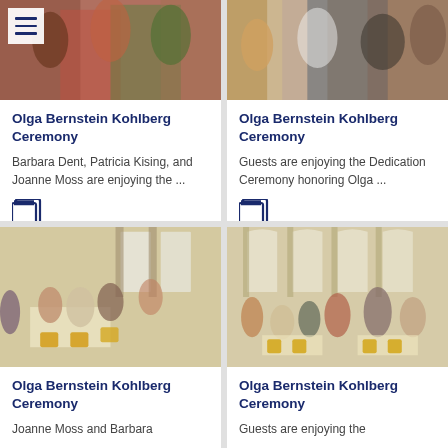[Figure (photo): People at an event, top-left card photo]
Olga Bernstein Kohlberg Ceremony
Barbara Dent, Patricia Kising, and Joanne Moss are enjoying the ...
[Figure (photo): People at an event, top-right card photo]
Olga Bernstein Kohlberg Ceremony
Guests are enjoying the Dedication Ceremony honoring Olga ...
[Figure (photo): Guests seated at tables in a hall, bottom-left card photo]
Olga Bernstein Kohlberg Ceremony
Joanne Moss and Barbara
[Figure (photo): Guests mingling in a hall, bottom-right card photo]
Olga Bernstein Kohlberg Ceremony
Guests are enjoying the